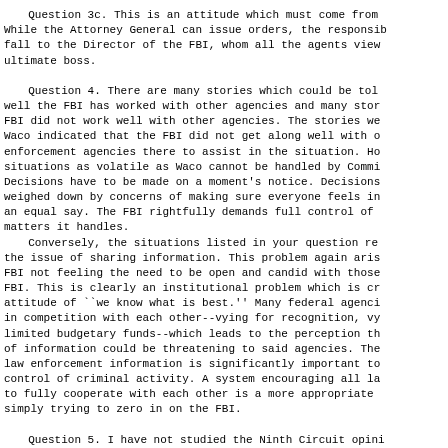Question 3c. This is an attitude which must come from Within the Attorney General can issue orders, the responsibility fall to the Director of the FBI, whom all the agents view as ultimate boss.

Question 4. There are many stories which could be told how well the FBI has worked with other agencies and many stories the FBI did not work well with other agencies. The stories we know of Waco indicated that the FBI did not get along well with other enforcement agencies there to assist in the situation. However, situations as volatile as Waco cannot be handled by Committee. Decisions have to be made on a moment's notice. Decisions cannot be weighed down by concerns of making sure everyone feels included or has an equal say. The FBI rightfully demands full control of the matters it handles.
    Conversely, the situations listed in your question relate to the issue of sharing information. This problem again arises from the FBI not feeling the need to be open and candid with those outside FBI. This is clearly an institutional problem which is created by the attitude of ``we know what is best.'' Many federal agencies are in competition with each other--vying for recognition, vying for limited budgetary funds--which leads to the perception that sharing of information could be threatening to said agencies. The sharing of law enforcement information is significantly important to the control of criminal activity. A system encouraging all law enforcement to fully cooperate with each other is a more appropriate remedy than simply trying to zero in on the FBI.

Question 5. I have not studied the Ninth Circuit opinion, my initial opinion is that states should not prosecute federal
initial opinion is that states should not prosecute federal